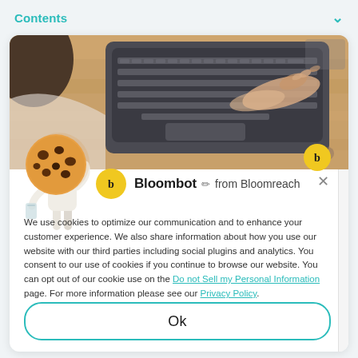Contents
[Figure (photo): Person typing on a laptop/tablet keyboard on a wooden desk, overhead/side angle view, motion blur on hands]
[Figure (illustration): Cartoon character holding a large chocolate chip cookie, with a Bloombot yellow circle icon, labeled 'Bloombot from Bloomreach']
We use cookies to optimize our communication and to enhance your customer experience. We also share information about how you use our website with our third parties including social plugins and analytics. You consent to our use of cookies if you continue to browse our website. You can opt out of our cookie use on the Do not Sell my Personal Information page. For more information please see our Privacy Policy.
Ok